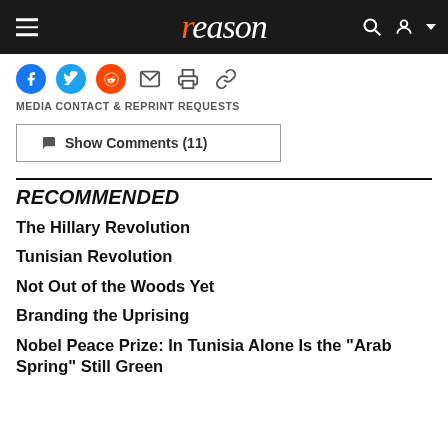reason
[Figure (other): Social sharing icons: Facebook, Twitter, Reddit, Email, Print, Link]
MEDIA CONTACT & REPRINT REQUESTS
Show Comments (11)
RECOMMENDED
The Hillary Revolution
Tunisian Revolution
Not Out of the Woods Yet
Branding the Uprising
Nobel Peace Prize: In Tunisia Alone Is the "Arab Spring" Still Green